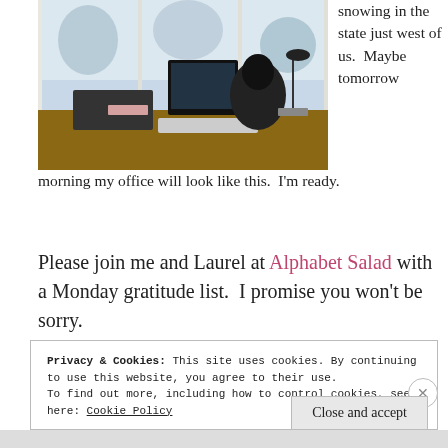[Figure (photo): A home office desk with a computer monitor, printer, and chair near large snowy windows with a winter landscape visible outside.]
snowing in the state just west of us.  Maybe tomorrow morning my office will look like this.  I'm ready.
Please join me and Laurel at Alphabet Salad with a Monday gratitude list.  I promise you won't be sorry.
Privacy & Cookies: This site uses cookies. By continuing to use this website, you agree to their use.
To find out more, including how to control cookies, see here: Cookie Policy
Close and accept